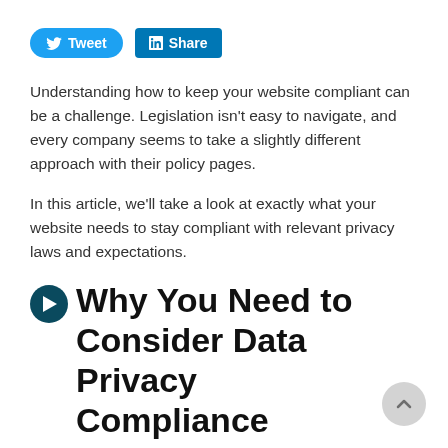[Figure (other): Social sharing buttons: Tweet (Twitter/blue pill) and Share (LinkedIn/blue rectangle)]
Understanding how to keep your website compliant can be a challenge. Legislation isn't easy to navigate, and every company seems to take a slightly different approach with their policy pages.
In this article, we'll take a look at exactly what your website needs to stay compliant with relevant privacy laws and expectations.
➔ Why You Need to Consider Data Privacy Compliance
People care about their data. And as a company that collects and uses that data, care should be at the heart of how you operate too. Not only this, but there